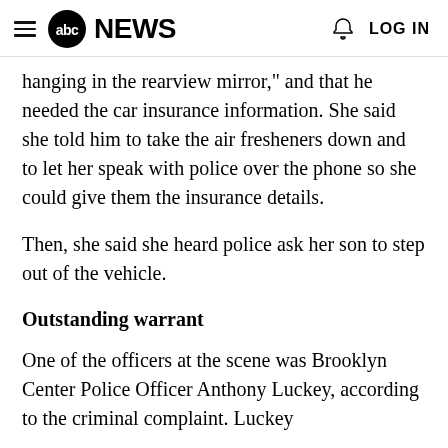abc NEWS  LOG IN
hanging in the rearview mirror," and that he needed the car insurance information. She said she told him to take the air fresheners down and to let her speak with police over the phone so she could give them the insurance details.
Then, she said she heard police ask her son to step out of the vehicle.
Outstanding warrant
One of the officers at the scene was Brooklyn Center Police Officer Anthony Luckey, according to the criminal complaint. Luckey